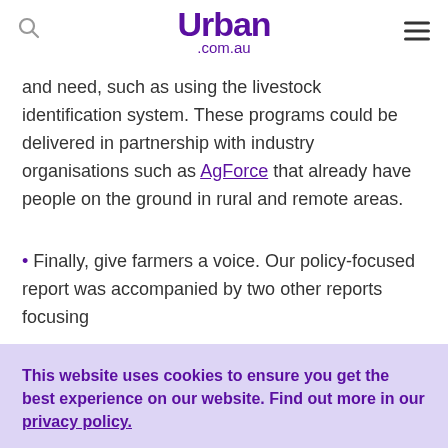Urban .com.au
and need, such as using the livestock identification system. These programs could be delivered in partnership with industry organisations such as AgForce that already have people on the ground in rural and remote areas.
Finally, give farmers a voice. Our policy-focused report was accompanied by two other reports focusing
This website uses cookies to ensure you get the best experience on our website. Find out more in our privacy policy.
Accept Cookies